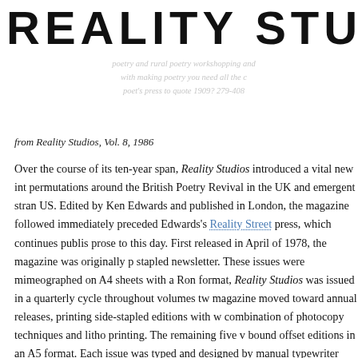REALITY STU
from Reality Studios, Vol. 8, 1986
Over the course of its ten-year span, Reality Studios introduced a vital new int permutations around the British Poetry Revival in the UK and emergent stran US. Edited by Ken Edwards and published in London, the magazine followed immediately preceded Edwards's Reality Street press, which continues publis prose to this day. First released in April of 1978, the magazine was originally stapled newsletter. These issues were mimeographed on A4 sheets with a Ron format, Reality Studios was issued in a quarterly cycle throughout volumes tw magazine moved toward annual releases, printing side-stapled editions with w combination of photocopy techniques and litho printing. The remaining five v bound offset editions in an A5 format. Each issue was typed and designed by manual typewriter onto mimeograph, and later via an early Apple Macintosh c Investigating experimental language arts across international borders and bey Studios delivered a wildly heterogeneous array of writing that ranged from Ne experiments to sound-text poetry, experimental prose, conceptual writing, and